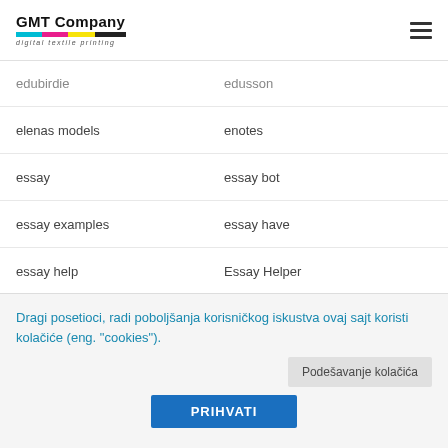GMT Company digital textile printing
edubirdie | edusson
elenas models | enotes
essay | essay bot
essay examples | essay have
essay help | Essay Helper
essay pro | essay samples
Essay Shmessay | essay tigers
essay typer | Essay Writers
Dragi posetioci, radi poboljšanja korisničkog iskustva ovaj sajt koristi kolačiće (eng. "cookies").
Podešavanje kolačića
PRIHVATI